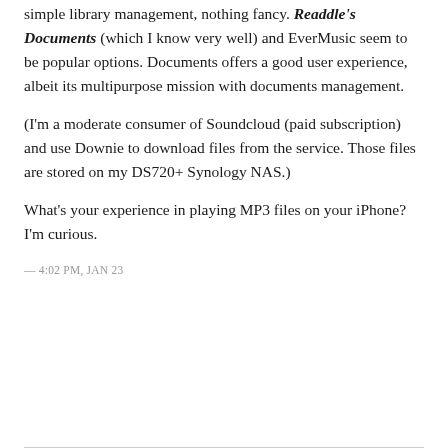simple library management, nothing fancy. Readdle's Documents (which I know very well) and EverMusic seem to be popular options. Documents offers a good user experience, albeit its multipurpose mission with documents management.
(I'm a moderate consumer of Soundcloud (paid subscription) and use Downie to download files from the service. Those files are stored on my DS720+ Synology NAS.)
What's your experience in playing MP3 files on your iPhone? I'm curious.
— 4:02 PM, JAN 23